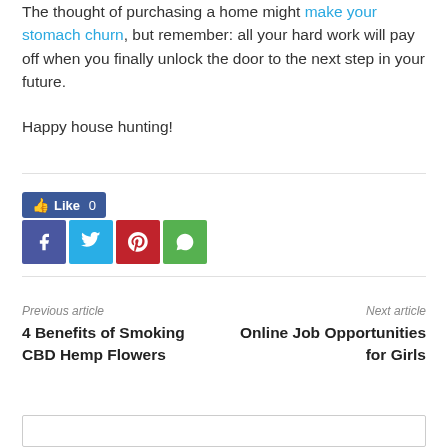The thought of purchasing a home might make your stomach churn, but remember: all your hard work will pay off when you finally unlock the door to the next step in your future.
Happy house hunting!
[Figure (other): Facebook Like button showing count 0]
[Figure (other): Social share icons: Facebook, Twitter, Pinterest, WhatsApp]
Previous article
4 Benefits of Smoking CBD Hemp Flowers
Next article
Online Job Opportunities for Girls